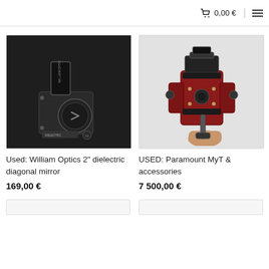🛒  0,00 €  ≡
[Figure (photo): Black William Optics 2-inch dielectric diagonal mirror accessory on white background]
Used: William Optics 2" dielectric diagonal mirror
169,00 €
[Figure (photo): Red and black Paramount MyT telescope mount with accessories, held in a hand]
USED: Paramount MyT & accessories
7 500,00 €